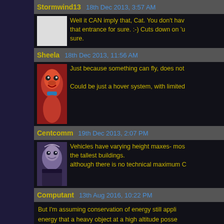Stormwind13   18th Dec 2013, 3:57 AM
Well it CAN imply that, Cat. You don't have that entrance for sure. :-) Cuts down on 'u sure.
Sheela   18th Dec 2013, 11:56 AM
Just because something can fly, does not
Could be just a hover system, with limited
Centcomm   19th Dec 2013, 2:07 PM
Vehicles have varying height maxes- most the tallest buildings.
although there is no technical maximum C
Computant   13th Aug 2016, 10:22 PM
But I'm assuming conservation of energy still appli energy that a heavy object at a high altitude posse more expensive it is.
cattservant   17th Dec 2013, 9:45 PM
Now that Officer Allie mentions it,
Krystal does seem a bit 'hardcoded'